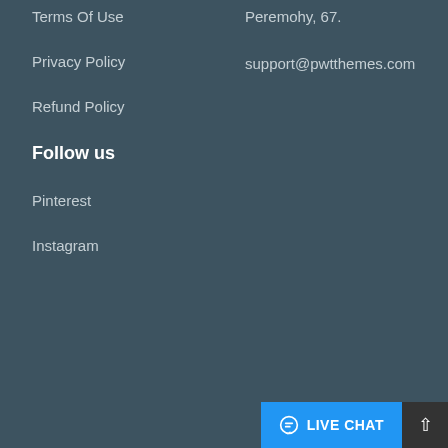Terms Of Use
Privacy Policy
Refund Policy
Follow us
Pinterest
Instagram
Peremohy, 67.
support@pwtthemes.com
LIVE CHAT